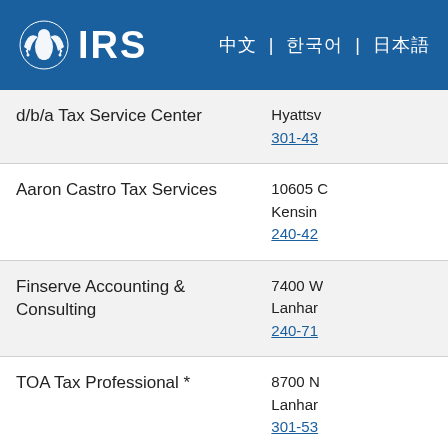IRS | navigation links
| Name | Address/Phone |
| --- | --- |
| d/b/a Tax Service Center | Hyattsv...
301-43... |
| Aaron Castro Tax Services | 10605 C
Kensin...
240-42... |
| Finserve Accounting & Consulting | 7400 W...
Lanhar...
240-71... |
| TOA Tax Professional * | 8700 N...
Lanhar...
301-53... |
| Constance D Nwosu
d/b/a CN Accounting & Management Consulting LLC | 1300 M...
Suite 1...
Largo... |